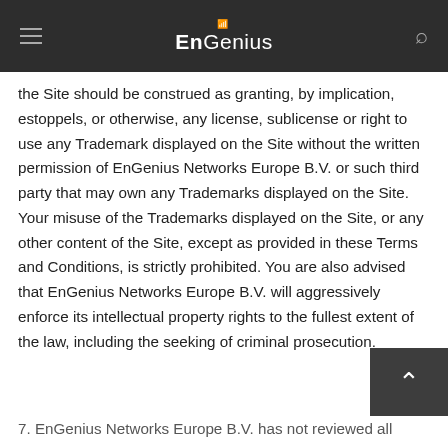EnGenius
the Site should be construed as granting, by implication, estoppels, or otherwise, any license, sublicense or right to use any Trademark displayed on the Site without the written permission of EnGenius Networks Europe B.V. or such third party that may own any Trademarks displayed on the Site. Your misuse of the Trademarks displayed on the Site, or any other content of the Site, except as provided in these Terms and Conditions, is strictly prohibited. You are also advised that EnGenius Networks Europe B.V. will aggressively enforce its intellectual property rights to the fullest extent of the law, including the seeking of criminal prosecution.
7. EnGenius Networks Europe B.V. has not reviewed all